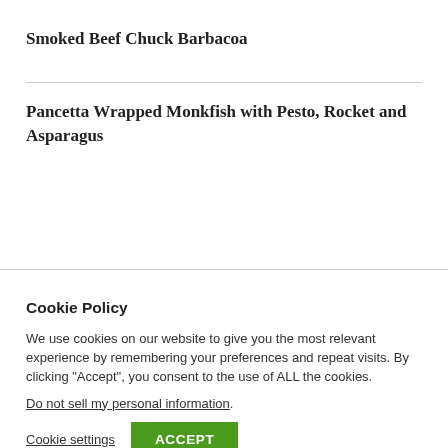Smoked Beef Chuck Barbacoa
Pancetta Wrapped Monkfish with Pesto, Rocket and Asparagus
Cookie Policy
We use cookies on our website to give you the most relevant experience by remembering your preferences and repeat visits. By clicking “Accept”, you consent to the use of ALL the cookies.
Do not sell my personal information.
Cookie settings   ACCEPT